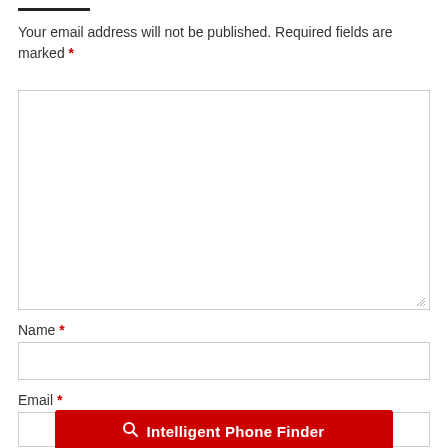Your email address will not be published. Required fields are marked *
[Figure (other): Large text input textarea (comment box) with resize handle]
Name *
[Figure (other): Name input field]
Email *
[Figure (other): Email input field]
[Figure (other): Red button with magnifying glass icon and text: Intelligent Phone Finder]